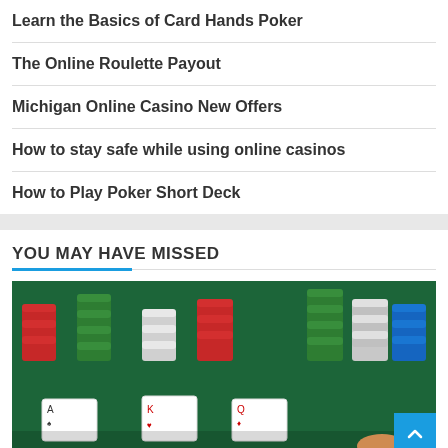Learn the Basics of Card Hands Poker
The Online Roulette Payout
Michigan Online Casino New Offers
How to stay safe while using online casinos
How to Play Poker Short Deck
YOU MAY HAVE MISSED
[Figure (photo): Stacks of red, green, and white poker chips on a green felt table with playing cards and a hand in the foreground]